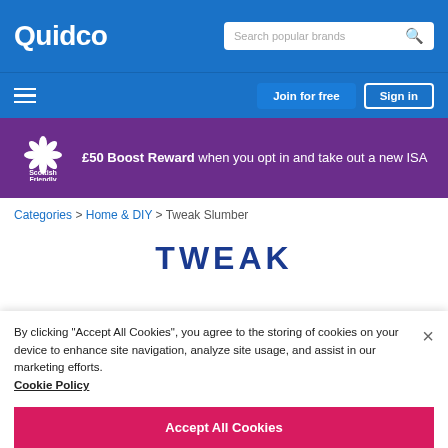Quidco
[Figure (infographic): Scottish Friendly promotional banner: £50 Boost Reward when you opt in and take out a new ISA]
Categories > Home & DIY > Tweak Slumber
[Figure (logo): TWEAK logo in dark blue uppercase letters]
By clicking "Accept All Cookies", you agree to the storing of cookies on your device to enhance site navigation, analyze site usage, and assist in our marketing efforts. Cookie Policy
Accept All Cookies